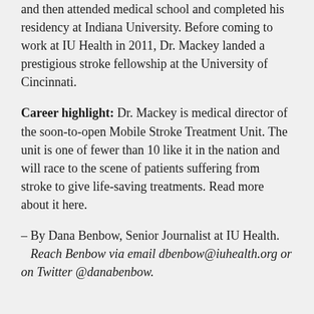and then attended medical school and completed his residency at Indiana University. Before coming to work at IU Health in 2011, Dr. Mackey landed a prestigious stroke fellowship at the University of Cincinnati.
Career highlight: Dr. Mackey is medical director of the soon-to-open Mobile Stroke Treatment Unit. The unit is one of fewer than 10 like it in the nation and will race to the scene of patients suffering from stroke to give life-saving treatments. Read more about it here.
– By Dana Benbow, Senior Journalist at IU Health. Reach Benbow via email dbenbow@iuhealth.org or on Twitter @danabenbow.